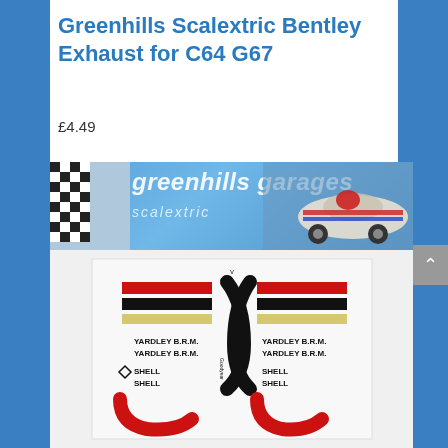Greenhills Scalextric Bentley Exhaust for C64 G67
£4.49
[Figure (photo): Product listing photo showing a Greenhills Garages branded banner at top with checkered flag and racing car imagery, and below it a decal sheet featuring Yardley B.R.M. and Shell sponsor decals in red, black, and yellow stripes with curved exhaust pipe shapes.]